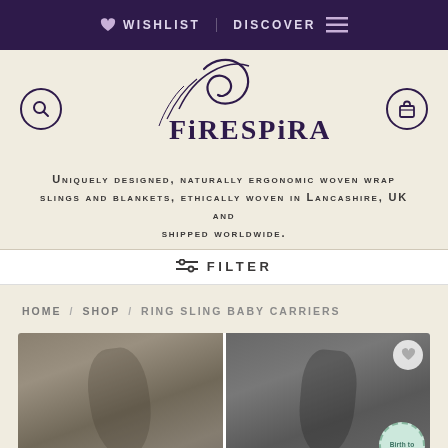WISHLIST  DISCOVER
[Figure (logo): Firespiral logo with decorative swirl and stylized text]
Uniquely designed, naturally ergonomic woven wrap slings and blankets, ethically woven in Lancashire, UK and shipped worldwide.
FILTER
HOME / SHOP / RING SLING BABY CARRIERS
[Figure (photo): Two product photos of ring sling baby carriers in grey/dark tones, with a Birth to badge visible on the right image]